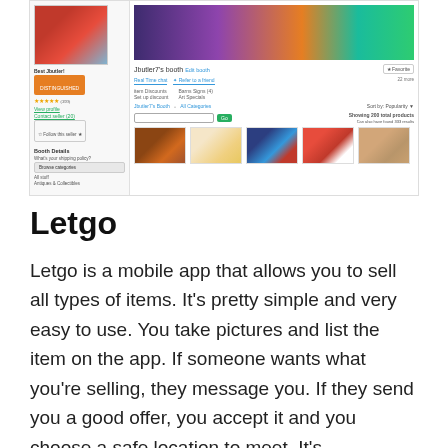[Figure (screenshot): Screenshot of an online marketplace booth page (Bonanza or similar), showing a seller profile panel on the left with avatar image, star ratings, and navigation links, and a main panel on the right with a colorful banner of yarn/textile products, booth title 'Jbutler7's booth', search bar, and product thumbnails.]
Letgo
Letgo is a mobile app that allows you to sell all types of items. It's pretty simple and very easy to use. You take pictures and list the item on the app. If someone wants what you're selling, they message you. If they send you a good offer, you accept it and you choose a safe location to meet. It's straightforward, I have